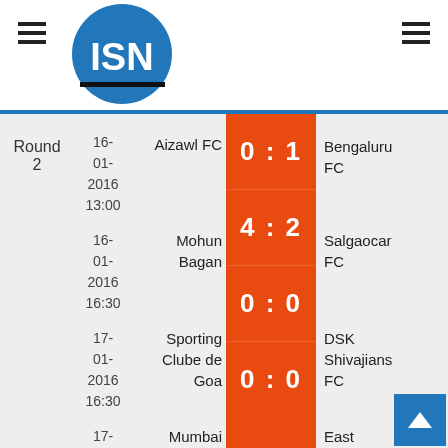ISN logo header with hamburger menus
| Round | Date | Home | Score | Away |
| --- | --- | --- | --- | --- |
| Round 2 | 16-01-2016 13:00 | Aizawl FC | 0 : 1 | Bengaluru FC |
|  | 16-01-2016 16:30 | Mohun Bagan | 4 : 2 | Salgaocar FC |
|  | 17-01-2016 16:30 | Sporting Clube de Goa | 0 : 0 | DSK Shivajians FC |
|  | 17-01-2016 19:05 | Mumbai FC | 0 : 0 | East Bengal FC |